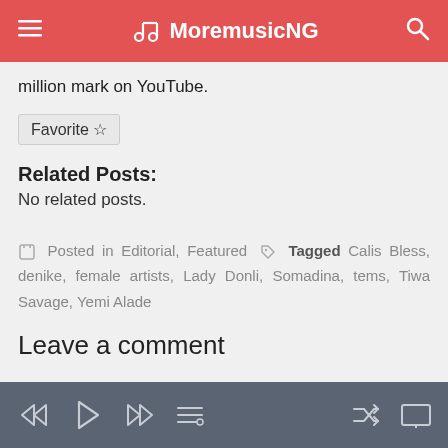MoremusicNG
million mark on YouTube.
Favorite ☆
Related Posts:
No related posts.
Posted in Editorial, Featured  Tagged Calis Bless, denike, female artists, Lady Donli, Somadina, tems, Tiwa Savage, Yemi Alade
Leave a comment
Player bar with rewind, play, fast-forward, playlist, shuffle, screen controls